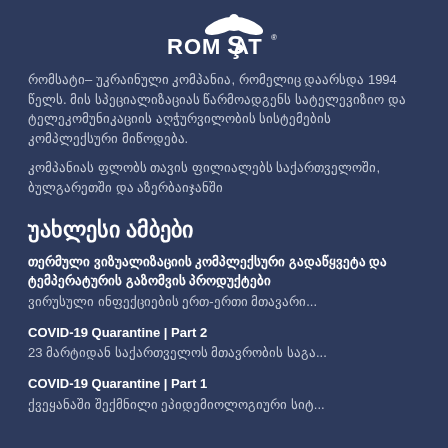[Figure (logo): ROMSAT company logo with bird/satellite graphic above text]
რომსატი– უკრაინული კომპანია, რომელიც დაარსდა 1994 წელს. მის სპეციალიზაციას წარმოადგენს სატელევიზიო და ტელეკომუნიკაციის აღჭურვილობის სისტემების კომპლექსური მიწოდება.
კომპანიას ფლობს თავის ფილიალებს საქართველოში, ბულგარეთში და აზერბაიჯანში
უახლესი ამბები
თერმული ვიზუალიზაციის კომპლექსური გადაწყვეტა და ტემპერატურის გაზომვის პროდუქტები
ვირუსული ინფექციების ერთ-ერთი მთავარი...
COVID-19 Quarantine | Part 2
23 მარტიდან საქართველოს მთავრობის საგა...
COVID-19 Quarantine | Part 1
ქვეყანაში შექმნილი ეპიდემიოლოგიური სიტ...